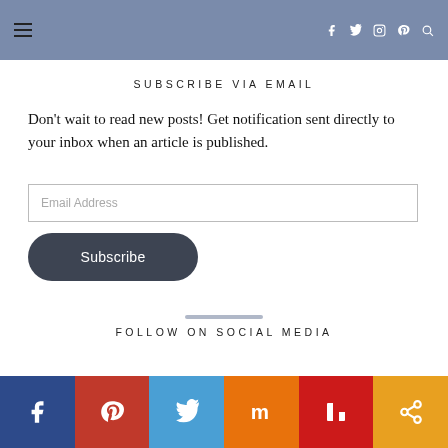≡  f  𝕏  ✉  ⊕  🔍
SUBSCRIBE VIA EMAIL
Don't wait to read new posts! Get notification sent directly to your inbox when an article is published.
Email Address
Subscribe
FOLLOW ON SOCIAL MEDIA
[Figure (infographic): Social media icon bar with six colored tiles: Facebook (dark blue), Pinterest (red), Twitter (light blue), Mix (orange), Flipboard (red), Share (amber)]